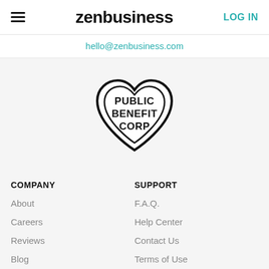zenbusiness | LOG IN
hello@zenbusiness.com
[Figure (logo): Heart-shaped badge with text PUBLIC BENEFIT CORP inside]
COMPANY
About
Careers
Reviews
Blog
SUPPORT
F.A.Q.
Help Center
Contact Us
Terms of Use